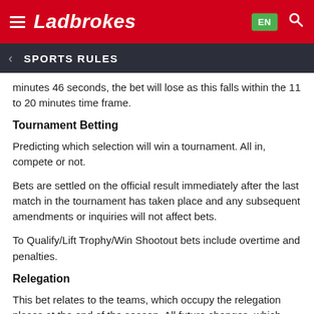Ladbrokes — SPORTS RULES
minutes 46 seconds, the bet will lose as this falls within the 11 to 20 minutes time frame.
Tournament Betting
Predicting which selection will win a tournament. All in, compete or not.
Bets are settled on the official result immediately after the last match in the tournament has taken place and any subsequent amendments or inquiries will not affect bets.
To Qualify/Lift Trophy/Win Shootout bets include overtime and penalties.
Relegation
This bet relates to the teams, which occupy the relegation places at the end of the season. All future changes, which may occur for whatever reason, are deemed irrelevant for this bet.